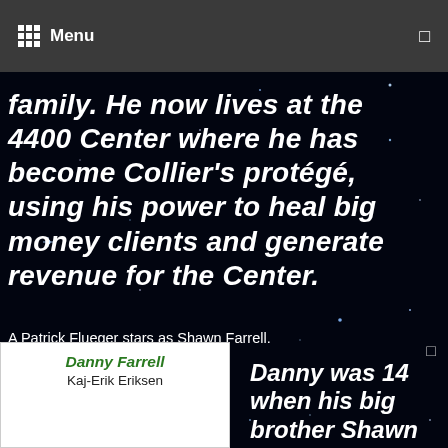Menu
family. He now lives at the 4400 Center where he has become Collier's protégé, using his power to heal big money clients and generate revenue for the Center.
A Patrick Flueger stars as Shawn Farrell.
Danny Farrell
Kaj-Erik Eriksen
Danny was 14 when his big brother Shawn